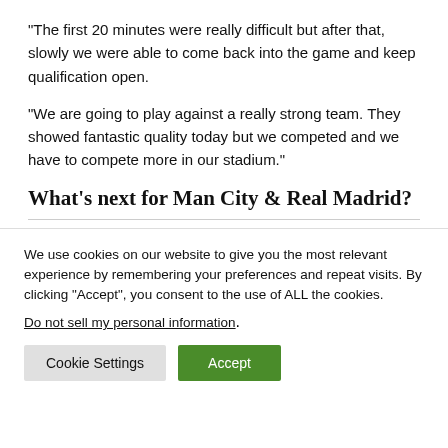“The first 20 minutes were really difficult but after that, slowly we were able to come back into the game and keep qualification open.
“We are going to play against a really strong team. They showed fantastic quality today but we competed and we have to compete more in our stadium.”
What’s next for Man City & Real Madrid?
We use cookies on our website to give you the most relevant experience by remembering your preferences and repeat visits. By clicking “Accept”, you consent to the use of ALL the cookies.
Do not sell my personal information.